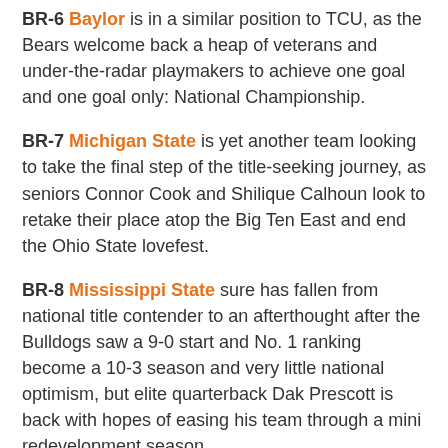BR-6 Baylor is in a similar position to TCU, as the Bears welcome back a heap of veterans and under-the-radar playmakers to achieve one goal and one goal only: National Championship.
BR-7 Michigan State is yet another team looking to take the final step of the title-seeking journey, as seniors Connor Cook and Shilique Calhoun look to retake their place atop the Big Ten East and end the Ohio State lovefest.
BR-8 Mississippi State sure has fallen from national title contender to an afterthought after the Bulldogs saw a 9-0 start and No. 1 ranking become a 10-3 season and very little national optimism, but elite quarterback Dak Prescott is back with hopes of easing his team through a mini redevelopment season.